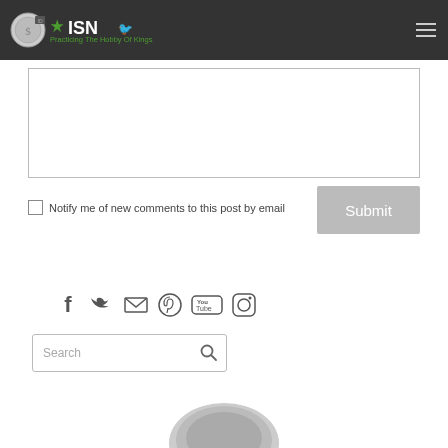ISN - Practicing The Hobby Of Kings
[Figure (screenshot): Comment textarea input box (empty)]
Notify me of new comments to this post by email
Submit
[Figure (infographic): Social media icons: Facebook, Twitter, Email, Pinterest, YouTube, Instagram]
[Figure (screenshot): Search input box with magnifying glass icon]
[Figure (photo): Partial coin image at bottom of page]